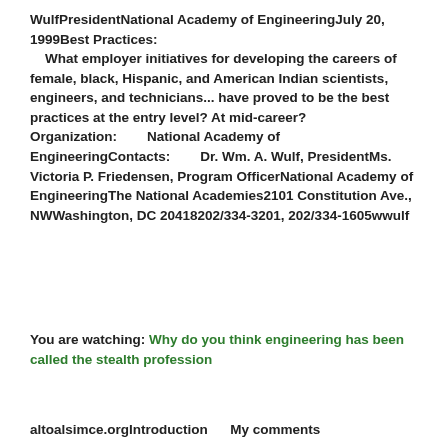WulfPresidentNational Academy of EngineeringJuly 20, 1999Best Practices:    What employer initiatives for developing the careers of female, black, Hispanic, and American Indian scientists, engineers, and technicians... have proved to be the best practices at the entry level? At mid-career?Organization:        National Academy of EngineeringContacts:        Dr. Wm. A. Wulf, PresidentMs. Victoria P. Friedensen, Program OfficerNational Academy of EngineeringThe National Academies2101 Constitution Ave., NWWashington, DC 20418202/334-3201, 202/334-1605wwulf
You are watching: Why do you think engineering has been called the stealth profession
altoalsimce.orgIntroduction      My comments